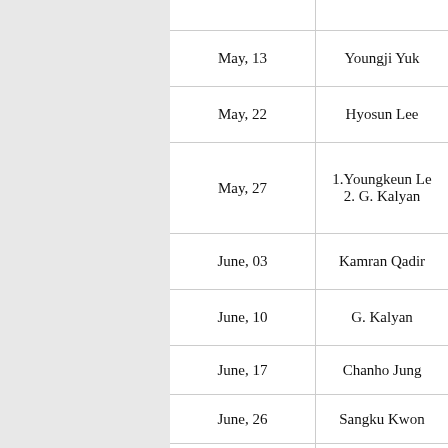| Date | Name |
| --- | --- |
| May, 13 | Youngji Yuk |
| May, 22 | Hyosun Lee |
| May, 27 | 1.Youngkeun Lee
2. G. Kalyan |
| June, 03 | Kamran Qadir |
| June, 10 | G. Kalyan |
| June, 17 | Chanho Jung |
| June, 26 | Sangku Kwon |
| July, 15 | Sunmi Kim |
| July, 22 | Youngkeun Lee |
| Aug, 20 | Jinheui Hwang |